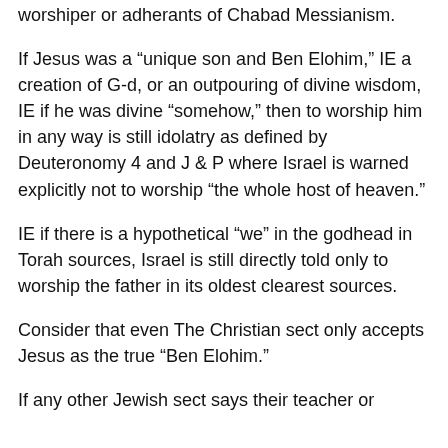worshiper or adherants of Chabad Messianism.
If Jesus was a “unique son and Ben Elohim,” IE a creation of G-d, or an outpouring of divine wisdom, IE if he was divine “somehow,” then to worship him in any way is still idolatry as defined by Deuteronomy 4 and J & P where Israel is warned explicitly not to worship “the whole host of heaven.”
IE if there is a hypothetical “we” in the godhead in Torah sources, Israel is still directly told only to worship the father in its oldest clearest sources.
Consider that even The Christian sect only accepts Jesus as the true “Ben Elohim.”
If any other Jewish sect says their teacher or